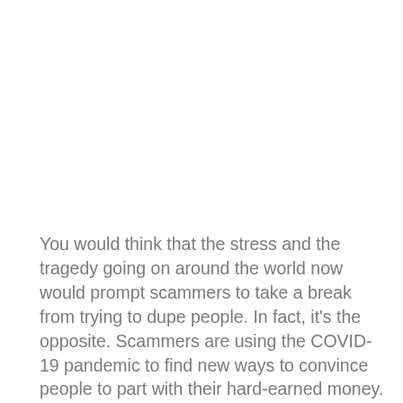You would think that the stress and the tragedy going on around the world now would prompt scammers to take a break from trying to dupe people. In fact, it's the opposite. Scammers are using the COVID-19 pandemic to find new ways to convince people to part with their hard-earned money.